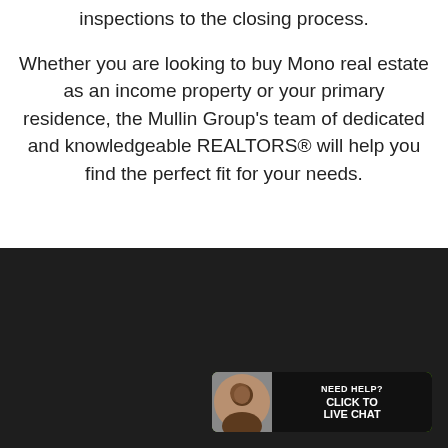inspections to the closing process.
Whether you are looking to buy Mono real estate as an income property or your primary residence, the Mullin Group's team of dedicated and knowledgeable REALTORS® will help you find the perfect fit for your needs.
[Figure (screenshot): Dark footer section of a real estate website with a live chat widget in the bottom right corner showing a woman's avatar, a green background, and text reading 'NEED HELP? CLICK TO LIVE CHAT' on a black label.]